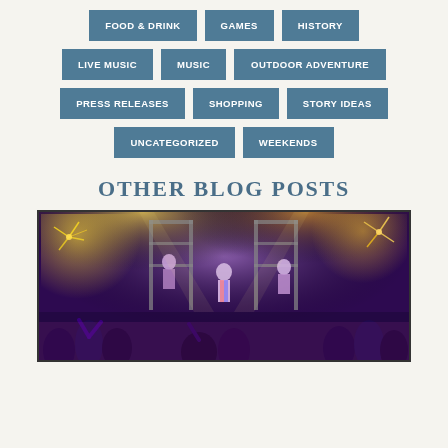FOOD & DRINK
GAMES
HISTORY
LIVE MUSIC
MUSIC
OUTDOOR ADVENTURE
PRESS RELEASES
SHOPPING
STORY IDEAS
UNCATEGORIZED
WEEKENDS
OTHER BLOG POSTS
[Figure (photo): Stage performance photo showing dancers and performers on a colorful stage with purple and yellow lighting, scaffolding structures, and energetic crowd scene]